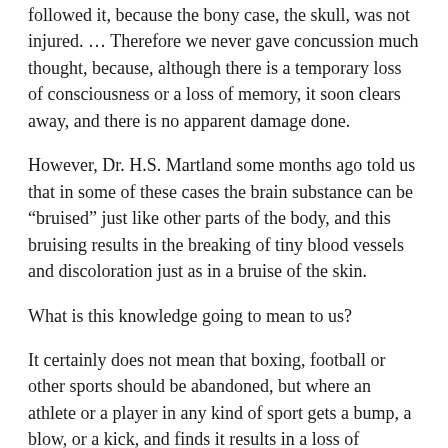followed it, because the bony case, the skull, was not injured. ... Therefore we never gave concussion much thought, because, although there is a temporary loss of consciousness or a loss of memory, it soon clears away, and there is no apparent damage done.
However, Dr. H.S. Martland some months ago told us that in some of these cases the brain substance can be “bruised” just like other parts of the body, and this bruising results in the breaking of tiny blood vessels and discoloration just as in a bruise of the skin.
What is this knowledge going to mean to us?
It certainly does not mean that boxing, football or other sports should be abandoned, but where an athlete or a player in any kind of sport gets a bump, a blow, or a kick, and finds it results in a loss of memory, however short, he should keep away from that sport for a time, because it is the “repeat blows” that are most apt to produce the